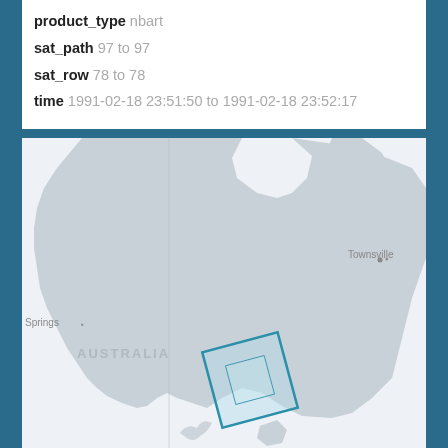product_type nbart
sat_path 97 to 97
sat_row 78 to 78
time 1991-02-18 23:51:50 to 1991-02-18 23:52:17
[Figure (map): Map of Australia showing a satellite path footprint (teal rectangle) over central Australia, with Townsville labeled on the east coast, Springs label on the left, and AUSTRALIA text in the interior. The map shows land in light grey and ocean in light off-white/blue.]